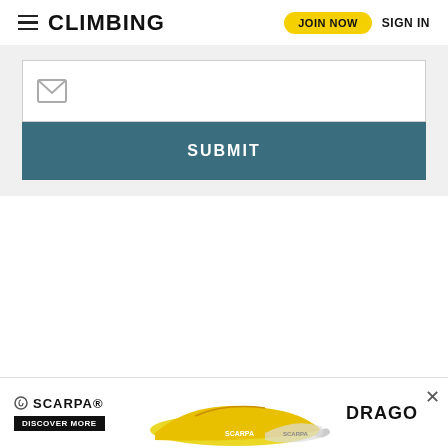CLIMBING | JOIN NOW | SIGN IN
[Figure (screenshot): Email input field with envelope icon placeholder]
SUBMIT
[Figure (photo): SCARPA climbing shoe advertisement banner showing yellow/black SCARPA Drago shoes with DISCOVER MORE button and close X button]